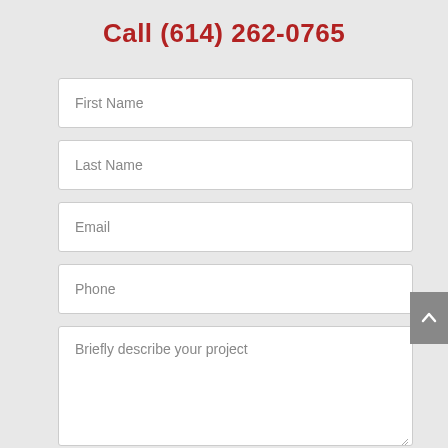Call (614) 262-0765
First Name
Last Name
Email
Phone
Briefly describe your project